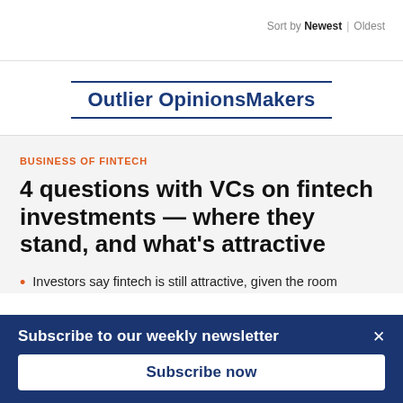Sort by Newest | Oldest
Outlier OpinionsMakers
BUSINESS OF FINTECH
4 questions with VCs on fintech investments — where they stand, and what's attractive
Investors say fintech is still attractive, given the room
Subscribe to our weekly newsletter
Subscribe now